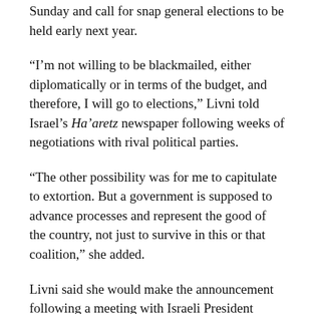Sunday and call for snap general elections to be held early next year.
“I’m not willing to be blackmailed, either diplomatically or in terms of the budget, and therefore, I will go to elections,” Livni told Israel’s Ha’aretz newspaper following weeks of negotiations with rival political parties.
“The other possibility was for me to capitulate to extortion. But a government is supposed to advance processes and represent the good of the country, not just to survive in this or that coalition,” she added.
Livni said she would make the announcement following a meeting with Israeli President Shimon Peres at 3pm GMT.